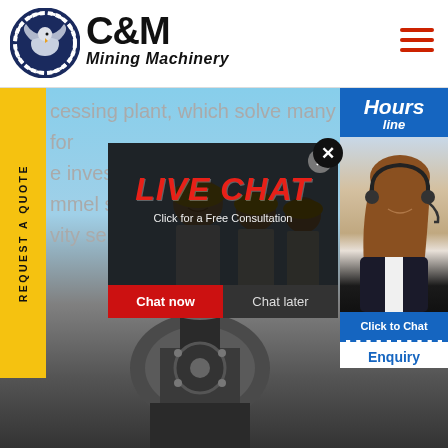[Figure (logo): C&M Mining Machinery logo with eagle in gear circle and company name]
[Figure (screenshot): Website screenshot showing C&M Mining Machinery page with live chat popup overlay, yellow REQUEST A QUOTE sidebar, text about processing plant and investors equipment, machinery image in background, and headset woman on right panel with Click to Chat and Enquiry buttons]
cessing plant, which solve many problems for e investors. Our equipment mainly include mmel sc vity sep
LIVE CHAT
Click for a Free Consultation
Chat now  Chat later
REQUEST A QUOTE
Hours line
Click to Chat
Enquiry